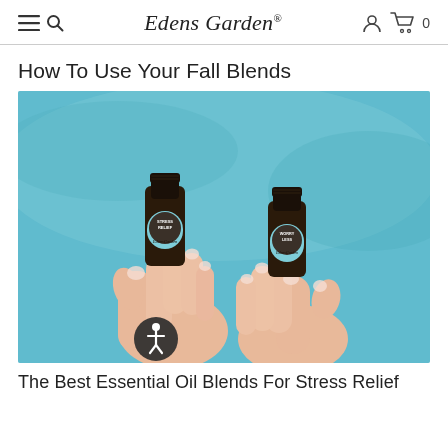Edens Garden®
How To Use Your Fall Blends
[Figure (photo): Two hands holding dark glass essential oil bottles with teal/turquoise labels against a blue background. Left bottle labeled 'Stress Relief' and right bottle labeled 'Worry Less', both branded Edens Garden.]
The Best Essential Oil Blends For Stress Relief